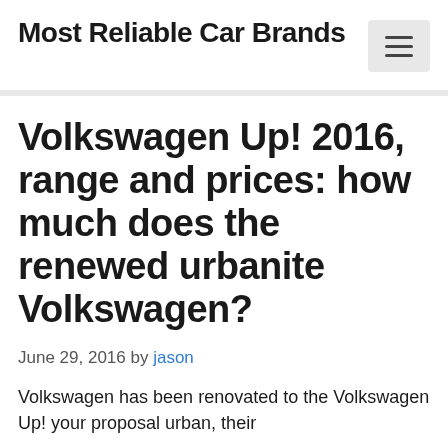Most Reliable Car Brands
Volkswagen Up! 2016, range and prices: how much does the renewed urbanite Volkswagen?
June 29, 2016 by jason
Volkswagen has been renovated to the Volkswagen Up! your proposal urban, their